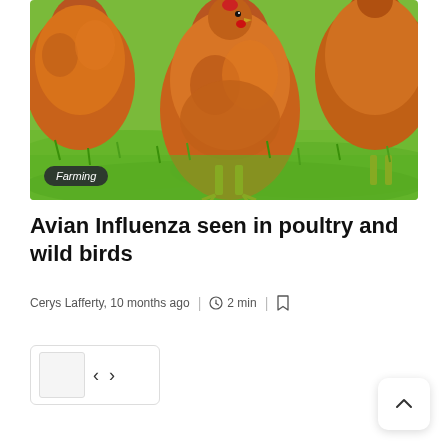[Figure (photo): Close-up photo of brown/red chickens/hens on green grass. Multiple hens visible, one prominently in center foreground. Bright green grass background. 'Farming' category badge overlaid at bottom left of image.]
Avian Influenza seen in poultry and wild birds
Cerys Lafferty, 10 months ago | 2 min |